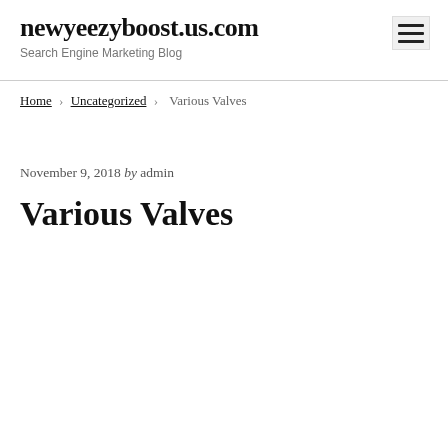newyeezyboost.us.com
Search Engine Marketing Blog
Home › Uncategorized › Various Valves
November 9, 2018 by admin
Various Valves